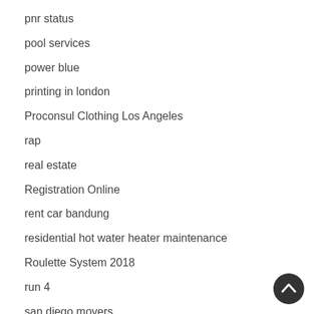pnr status
pool services
power blue
printing in london
Proconsul Clothing Los Angeles
rap
real estate
Registration Online
rent car bandung
residential hot water heater maintenance
Roulette System 2018
run 4
san diego movers